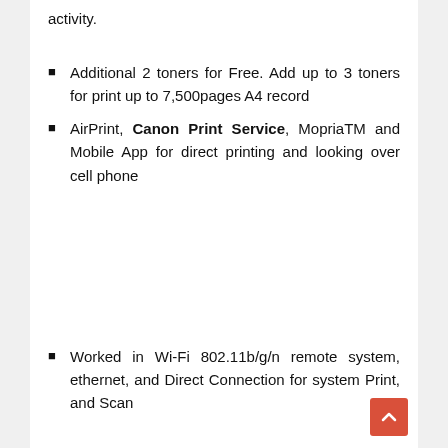activity.
Additional 2 toners for Free. Add up to 3 toners for print up to 7,500pages A4 record
AirPrint, Canon Print Service, MopriaTM and Mobile App for direct printing and looking over cell phone
Worked in Wi-Fi 802.11b/g/n remote system, ethernet, and Direct Connection for system Print, and Scan